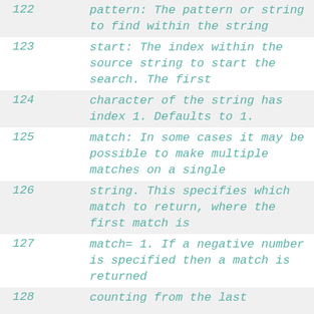122     pattern: The pattern or string to find within the string
123     start: The index within the source string to start the search. The first
124         character of the string has index 1.  Defaults to 1.
125     match: In some cases it may be possible to make multiple matches on a single
126         string.  This specifies which match to return, where the first match is
127         match= 1.  If a negative number is specified then a match is returned
128         counting from the last